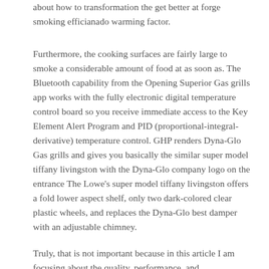about how to transformation the get better at forge smoking efficianado warming factor.
Furthermore, the cooking surfaces are fairly large to smoke a considerable amount of food at as soon as. The Bluetooth capability from the Opening Superior Gas grills app works with the fully electronic digital temperature control board so you receive immediate access to the Key Element Alert Program and PID (proportional-integral-derivative) temperature control. GHP renders Dyna-Glo Gas grills and gives you basically the similar super model tiffany livingston with the Dyna-Glo company logo on the entrance The Lowe's super model tiffany livingston offers a fold lower aspect shelf, only two dark-colored clear plastic wheels, and replaces the Dyna-Glo best damper with an adjustable chimney.
Truly, that is not important because in this article I am focusing about the quality, performance, and